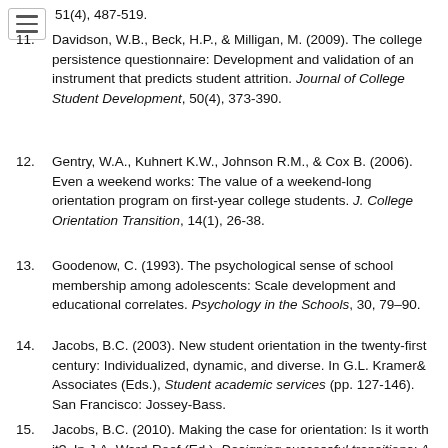51(4), 487-519.
11. Davidson, W.B., Beck, H.P., & Milligan, M. (2009). The college persistence questionnaire: Development and validation of an instrument that predicts student attrition. Journal of College Student Development, 50(4), 373-390.
12. Gentry, W.A., Kuhnert K.W., Johnson R.M., & Cox B. (2006). Even a weekend works: The value of a weekend-long orientation program on first-year college students. J. College Orientation Transition, 14(1), 26-38.
13. Goodenow, C. (1993). The psychological sense of school membership among adolescents: Scale development and educational correlates. Psychology in the Schools, 30, 79–90.
14. Jacobs, B.C. (2003). New student orientation in the twenty-first century: Individualized, dynamic, and diverse. In G.L. Kramer& Associates (Eds.), Student academic services (pp. 127-146). San Francisco: Jossey-Bass.
15. Jacobs, B.C. (2010). Making the case for orientation: Is it worth it?. In J.A. Ward-Roof (Ed.), Designing successful transitions: A guide for orienting students to college (pp. 29-39). Columbia, SC: University of South Carolina